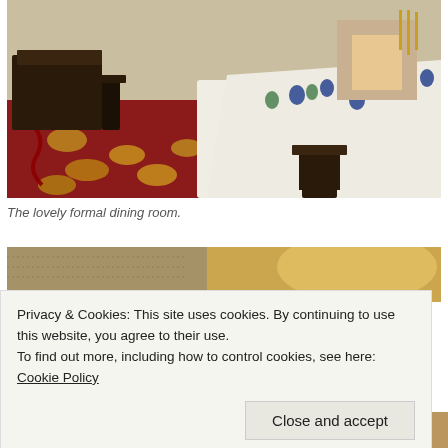[Figure (photo): A formal dining room with a long table covered in white tablecloth, set with blue and green glassware, chairs around it, ornate red carpet with yellow floral pattern, fireplace and candelabra in background, red rope barrier on left side.]
The lovely formal dining room.
[Figure (photo): Partial view of another room, appears to show wallpaper and warm golden lighting.]
Privacy & Cookies: This site uses cookies. By continuing to use this website, you agree to their use.
To find out more, including how to control cookies, see here: Cookie Policy
Close and accept
[Figure (photo): Bottom strip of another photo showing interior room details.]